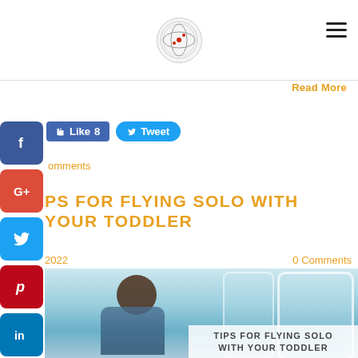[Logo] [Hamburger menu]
Read More
[Figure (infographic): Social media share buttons sidebar: Facebook, Google+, Twitter, Pinterest, LinkedIn, Tumblr icons stacked vertically on the left]
Like 8
Tweet
omments
PS FOR FLYING SOLO WITH YOUR TODDLER
2022    0 Comments
[Figure (photo): Child looking out airplane window, with text overlay reading TIPS FOR FLYING SOLO WITH YOUR TODDLER]